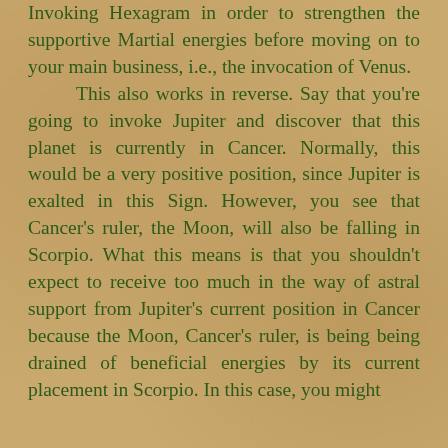Invoking Hexagram in order to strengthen the supportive Martial energies before moving on to your main business, i.e., the invocation of Venus.

This also works in reverse. Say that you're going to invoke Jupiter and discover that this planet is currently in Cancer. Normally, this would be a very positive position, since Jupiter is exalted in this Sign. However, you see that Cancer's ruler, the Moon, will also be falling in Scorpio. What this means is that you shouldn't expect to receive too much in the way of astral support from Jupiter's current position in Cancer because the Moon, Cancer's ruler, is being being drained of beneficial energies by its current placement in Scorpio. In this case, you might